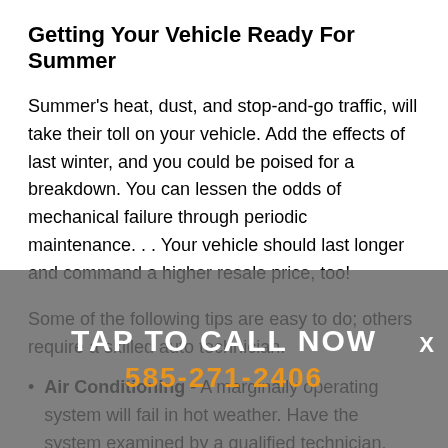Getting Your Vehicle Ready For Summer
Summer's heat, dust, and stop-and-go traffic, will take their toll on your vehicle. Add the effects of last winter, and you could be poised for a breakdown. You can lessen the odds of mechanical failure through periodic maintenance. . . Your vehicle should last longer and command a higher resale price, too!
Some of the following tips are easy to do; others require a skilled auto technician.
Air Conditioning - A marginally operating system will fail in hot weather. Have the system examined by a qualified technician. Newer
TAP TO CALL NOW
585-271-2406